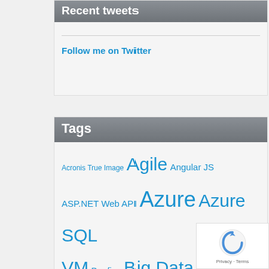Recent tweets
Follow me on Twitter
Tags
Acronis True Image Agile Angular JS ASP.NET Web API Azure Azure SQL VM Benfica Big Data Cloud computing CSS CSS3 Cubby Ember.js Hadoop HDInsight HD Insight Hekaton HIVE HTML5 Javascript jQuery Microsoft NewSQL Node.js NoSQL Office 2013 OLTP OPM query parameterization RDBMS Relational Databases